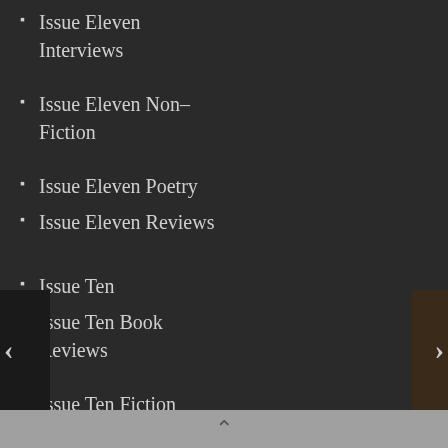Issue Eleven Interviews
Issue Eleven Non-Fiction
Issue Eleven Poetry
Issue Eleven Reviews
Issue Ten
Issue Ten Book Reviews
Issue Ten Fiction
Issue Ten Interviews
Issue Ten Nonfiction
Issue Ten Poetry
Issue Nine